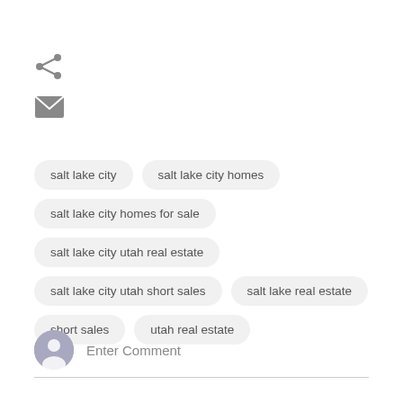[Figure (other): Share icon (less-than / share symbol) in gray]
[Figure (other): Mail/envelope icon in gray]
salt lake city
salt lake city homes
salt lake city homes for sale
salt lake city utah real estate
salt lake city utah short sales
salt lake real estate
short sales
utah real estate
Enter Comment